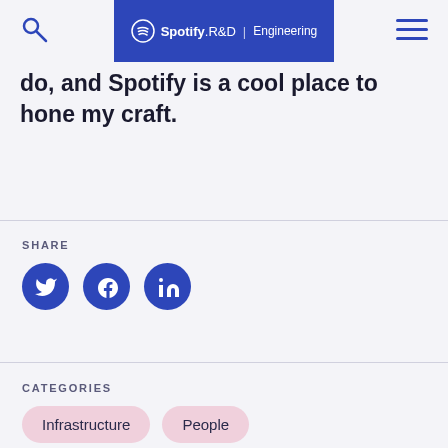Spotify R&D | Engineering
do, and Spotify is a cool place to hone my craft.
SHARE
[Figure (other): Social share icons: Twitter, Facebook, LinkedIn]
CATEGORIES
Infrastructure
People